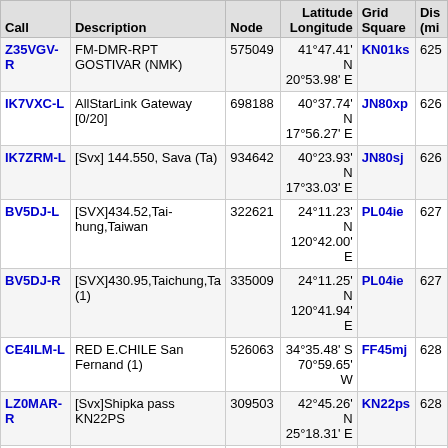| Call | Description | Node | Latitude Longitude | Grid Square | Dis (mi |
| --- | --- | --- | --- | --- | --- |
| Z35VGV-R | FM-DMR-RPT GOSTIVAR (NMK) | 575049 | 41°47.41' N 20°53.98' E | KN01ks | 625 |
| IK7VXC-L | AllStarLink Gateway [0/20] | 698188 | 40°37.74' N 17°56.27' E | JN80xp | 626 |
| IK7ZRM-L | [Svx] 144.550, Sava (Ta) | 934642 | 40°23.93' N 17°33.03' E | JN80sj | 626 |
| BV5DJ-L | [SVX]434.52,Tai-hung,Taiwan | 322621 | 24°11.23' N 120°42.00' E | PL04ie | 627 |
| BV5DJ-R | [SVX]430.95,Taichung,Ta (1) | 335009 | 24°11.25' N 120°41.94' E | PL04ie | 627 |
| CE4ILM-L | RED E.CHILE San Fernand (1) | 526063 | 34°35.48' S 70°59.65' W | FF45mj | 628 |
| LZ0MAR-R | [Svx]Shipka pass KN22PS | 309503 | 42°45.26' N 25°18.31' E | KN22ps | 628 |
| BV5AC-R | [SVX]431.98,Cha-ghwa,Taiwan | 531984 | 23°53.83' N 120°32.52' E | PL03gv | 629 |
| CE4NBE-L | RED E.CHILE-Curico (1) | 629358 | 34°58.41' S 71°15.56' W | FF45ia | 629 |
| CA4JNU-L | Empedrado - CHILE (1) | 898062 | 35°36.00' S 72°16.60' W | FF34uj | 629 |
| IU2PLZ-R | In Conference *ITA-LNK* | 763873 | 37°49.15' N 12°48.00' E | JM67jt | 629 |